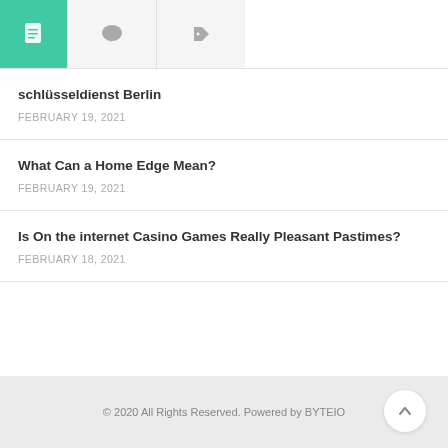[Figure (other): Tab navigation bar with three icons: active teal tab with document icon, comment bubble icon on light grey tab, tag icon on light grey tab]
schlüsseldienst Berlin
FEBRUARY 19, 2021
What Can a Home Edge Mean?
FEBRUARY 19, 2021
Is On the internet Casino Games Really Pleasant Pastimes?
FEBRUARY 18, 2021
© 2020 All Rights Reserved. Powered by BYTEIO